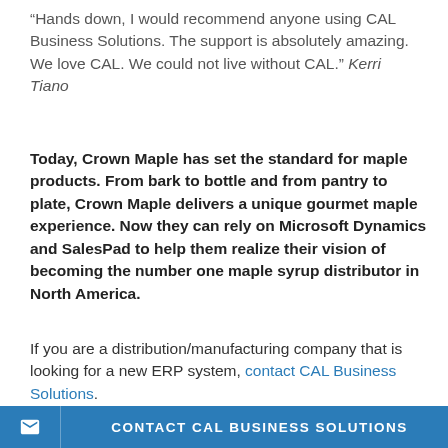“Hands down, I would recommend anyone using CAL Business Solutions. The support is absolutely amazing. We love CAL. We could not live without CAL.” Kerri Tiano
Today, Crown Maple has set the standard for maple products. From bark to bottle and from pantry to plate, Crown Maple delivers a unique gourmet maple experience. Now they can rely on Microsoft Dynamics and SalesPad to help them realize their vision of becoming the number one maple syrup distributor in North America.
If you are a distribution/manufacturing company that is looking for a new ERP system, contact CAL Business Solutions.
CONTACT CAL BUSINESS SOLUTIONS